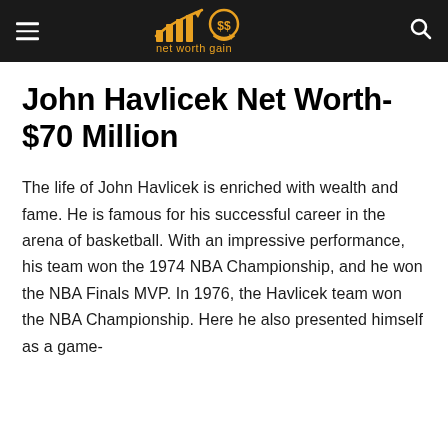net worth gain
John Havlicek Net Worth- $70 Million
The life of John Havlicek is enriched with wealth and fame. He is famous for his successful career in the arena of basketball. With an impressive performance, his team won the 1974 NBA Championship, and he won the NBA Finals MVP. In 1976, the Havlicek team won the NBA Championship. Here he also presented himself as a game-